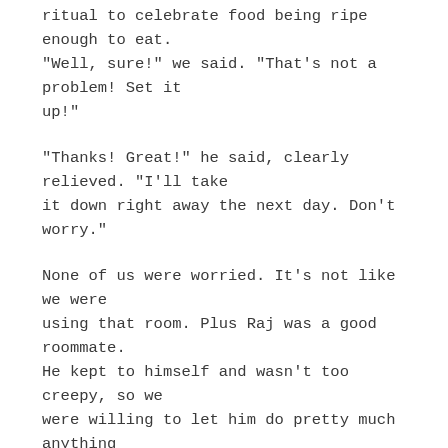ritual to celebrate food being ripe enough to eat. "Well, sure!" we said. "That's not a problem! Set it up!"
"Thanks! Great!" he said, clearly relieved. "I'll take it down right away the next day. Don't worry."
None of us were worried. It's not like we were using that room. Plus Raj was a good roommate. He kept to himself and wasn't too creepy, so we were willing to let him do pretty much anything he wanted. This ritual was no exception. I didn't even know when he performed it. Suddenly he was done and we were having cashew chicken from the Chinese place a few streets down.
I...